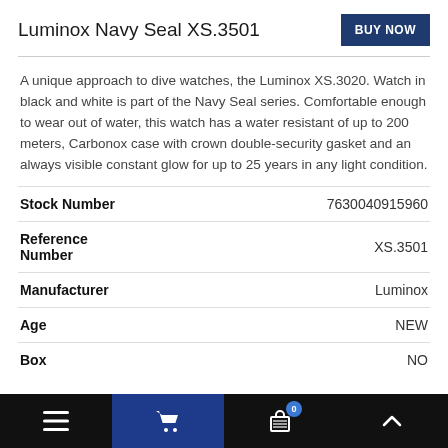Luminox Navy Seal XS.3501
A unique approach to dive watches, the Luminox XS.3020. Watch in black and white is part of the Navy Seal series. Comfortable enough to wear out of water, this watch has a water resistant of up to 200 meters, Carbonox case with crown double-security gasket and an always visible constant glow for up to 25 years in any light condition.
|  |  |
| --- | --- |
| Stock Number | 7630040915960 |
| Reference Number | XS.3501 |
| Manufacturer | Luminox |
| Age | NEW |
| Box | NO |
Navigation bar with menu, cart (0), basket, and up arrow